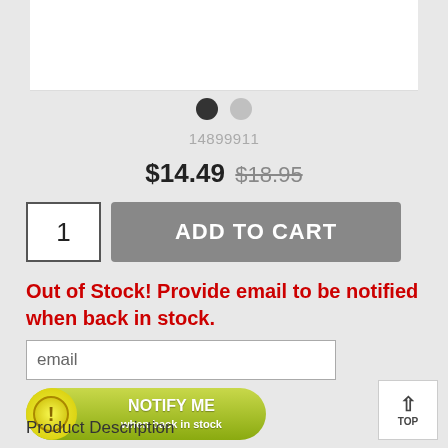[Figure (photo): Product image area (partially visible at top), white background with color selection dots (black and gray circles)]
14899911
$14.49 $18.95
1  ADD TO CART
Out of Stock! Provide email to be notified when back in stock.
email
[Figure (illustration): NOTIFY ME when back in stock button — green pill-shaped button with yellow exclamation icon on left, white bold text reading NOTIFY ME and smaller text when back in stock]
Product Description
TOP